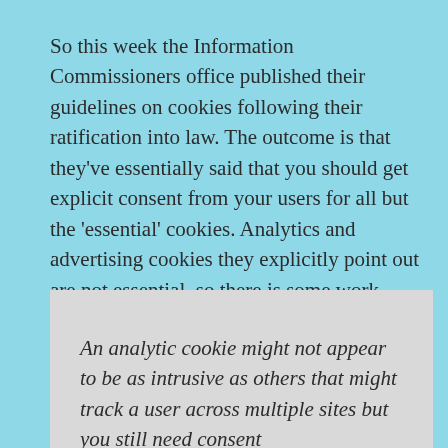So this week the Information Commissioners office published their guidelines on cookies following their ratification into law. The outcome is that they've essentially said that you should get explicit consent from your users for all but the 'essential' cookies. Analytics and advertising cookies they explicitly point out are not essential, so there is some work needed (possibly). Here is a link to the report (pdf warning).
An analytic cookie might not appear to be as intrusive as others that might track a user across multiple sites but you still need consent